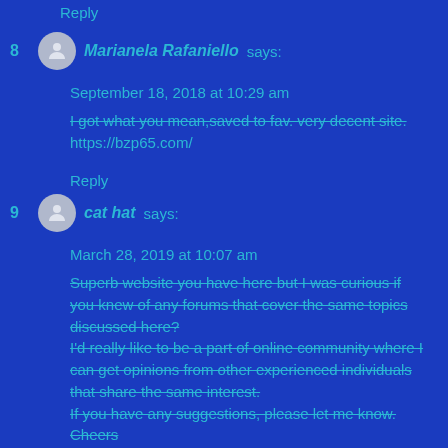Reply
8. Marianela Rafaniello says:
September 18, 2018 at 10:29 am
I got what you mean,saved to fav. very decent site. https://bzp65.com/
Reply
9. cat hat says:
March 28, 2019 at 10:07 am
Superb website you have here but I was curious if you knew of any forums that cover the same topics discussed here? I'd really like to be a part of online community where I can get opinions from other experienced individuals that share the same interest. If you have any suggestions, please let me know. Cheers
Reply